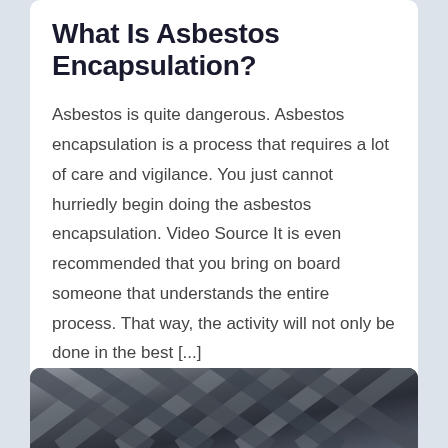What Is Asbestos Encapsulation?
Asbestos is quite dangerous. Asbestos encapsulation is a process that requires a lot of care and vigilance. You just cannot hurriedly begin doing the asbestos encapsulation. Video Source It is even recommended that you bring on board someone that understands the entire process. That way, the activity will not only be done in the best [...]
BEST ONLINE MAGAZINE    JULY 14, 2022
[Figure (photo): Close-up grayscale/metallic photo of what appears to be metallic or industrial material with a criss-cross or woven pattern, visible at the bottom of the page.]